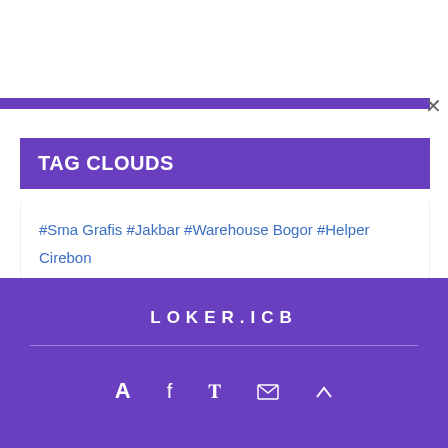TAG CLOUDS
#Sma Grafis #Jakbar #Warehouse Bogor #Helper Cirebon #Tidak Pengalaman #Sim C Bandung #Kurir Jakarta Timur #Media Jawa Tengah #Pendidikan Pekanbaru #Rumah Sakit Jakarta Pusat
LOKER.ICB